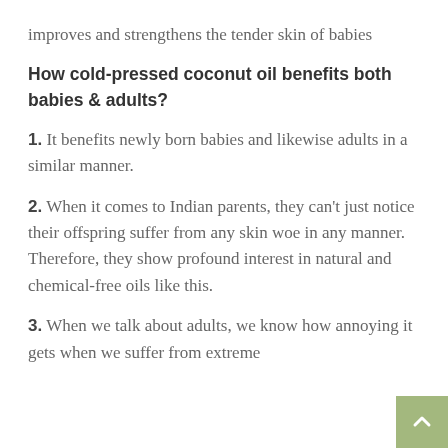improves and strengthens the tender skin of babies
How cold-pressed coconut oil benefits both babies & adults?
1. It benefits newly born babies and likewise adults in a similar manner.
2. When it comes to Indian parents, they can't just notice their offspring suffer from any skin woe in any manner. Therefore, they show profound interest in natural and chemical-free oils like this.
3. When we talk about adults, we know how annoying it gets when we suffer from extreme